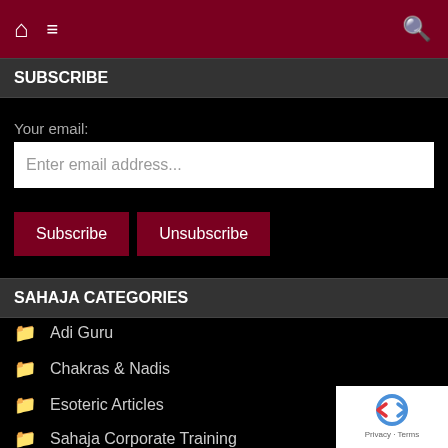Home | Menu | Search
SUBSCRIBE
Your email:
Enter email address...
Subscribe | Unsubscribe
SAHAJA CATEGORIES
Adi Guru
Chakras & Nadis
Esoteric Articles
Sahaja Corporate Training